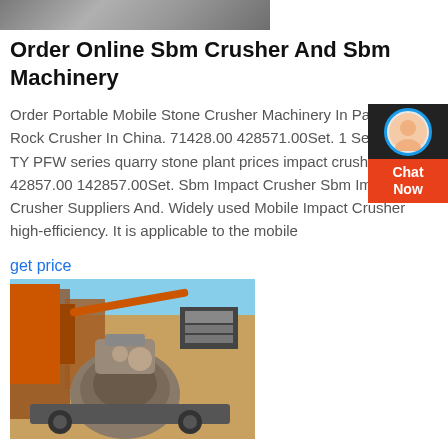[Figure (photo): Top banner image showing industrial/machinery surface in gray tones]
Order Online Sbm Crusher And Sbm Machinery
Order Portable Mobile Stone Crusher Machinery In Pakistan Rock Crusher In China. 71428.00 428571.00Set. 1 SetMin. Ord TY PFW series quarry stone plant prices impact crusher in c 42857.00 142857.00Set. Sbm Impact Crusher Sbm Impact Crusher Suppliers And. Widely used Mobile Impact Crusher high-efficiency. It is applicable to the mobile
get price
[Figure (photo): Industrial stone crusher machinery photographed outdoors, orange/rust colored heavy equipment against a blue sky and sandy ground]